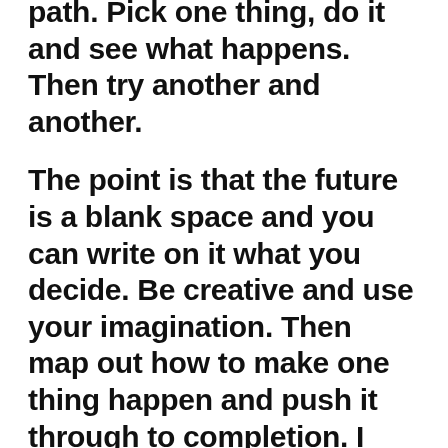path. Pick one thing, do it and see what happens. Then try another and another.
The point is that the future is a blank space and you can write on it what you decide. Be creative and use your imagination. Then map out how to make one thing happen and push it through to completion. I recommend picking something small to start with so you have a win and gain confidence. Work your way up to the big things.
Writing your history forward is a fun exercise and could help create a much better future for yourself.